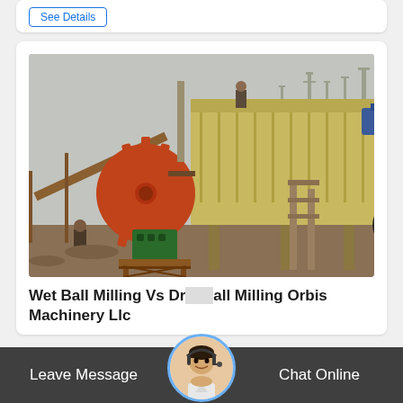See Details
[Figure (photo): Industrial machinery at a construction or mining site. Features a large orange gear/wheel mechanism in the foreground, a yellow industrial screening/vibrating machine in the background, conveyor structures, a worker on top of the machine, bare winter trees, and overcast sky.]
Wet Ball Milling Vs Dry Ball Milling Orbis Machinery Llc
Leave Message   Chat Online